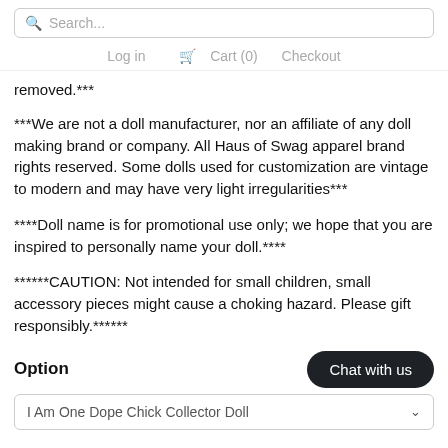Search...  Log in  Cart (0)  Checkout
removed.***
***We are not a doll manufacturer, nor an affiliate of any doll making brand or company. All Haus of Swag apparel brand rights reserved. Some dolls used for customization are vintage to modern and may have very light irregularities***
****Doll name is for promotional use only; we hope that you are inspired to personally name your doll.****
******CAUTION: Not intended for small children, small accessory pieces might cause a choking hazard. Please gift responsibly.******
Option
I Am One Dope Chick Collector Doll